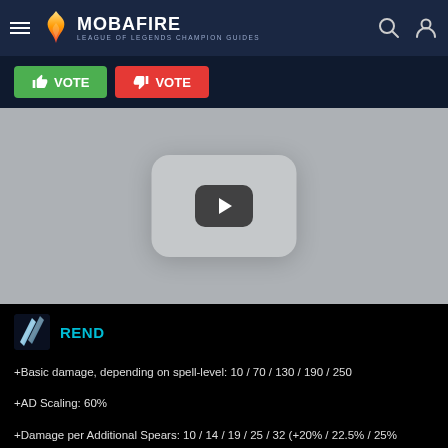MOBAFIRE - LEAGUE OF LEGENDS CHAMPION GUIDES
[Figure (other): Green thumbs-up VOTE button and red thumbs-down VOTE button]
[Figure (screenshot): YouTube video embed placeholder with play button]
REND
+Basic damage, depending on spell-level: 10 / 70 / 130 / 190 / 250
+AD Scaling: 60%
+Damage per Additional Spears: 10 / 14 / 19 / 25 / 32 (+20% / 22.5% / 25% / 27.5% / 30% Attack Damage)